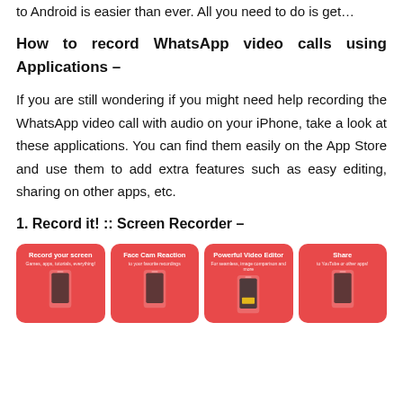to Android is easier than ever. All you need to do is get…
How to record WhatsApp video calls using Applications –
If you are still wondering if you might need help recording the WhatsApp video call with audio on your iPhone, take a look at these applications. You can find them easily on the App Store and use them to add extra features such as easy editing, sharing on other apps, etc.
1. Record it! :: Screen Recorder –
[Figure (screenshot): Four app store promotional cards for 'Record it! :: Screen Recorder' app showing features: Record your screen, Face Cam Reaction, Powerful Video Editor, Share — all on red/coral background with white phone mockups]